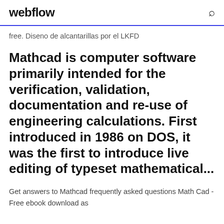webflow
free. Diseno de alcantarillas por el LKFD
Mathcad is computer software primarily intended for the verification, validation, documentation and re-use of engineering calculations. First introduced in 1986 on DOS, it was the first to introduce live editing of typeset mathematical...
Get answers to Mathcad frequently asked questions Math Cad - Free ebook download as